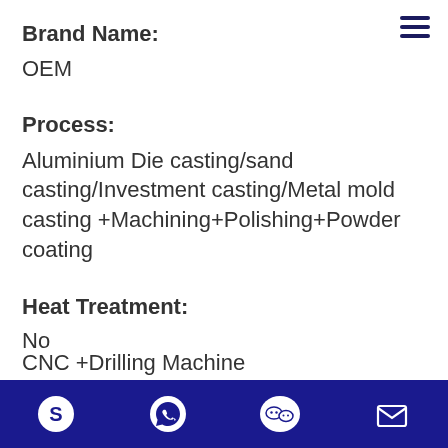Brand Name:
OEM
Process:
Aluminium Die casting/sand casting/Investment casting/Metal mold casting +Machining+Polishing+Powder coating
Heat Treatment:
No
Machining :
CNC +Drilling Machine
[Figure (other): Navigation hamburger menu icon (three horizontal dark blue lines) in top-right corner]
Bottom navigation bar with Skype, WhatsApp, WeChat, and email icons on dark blue background